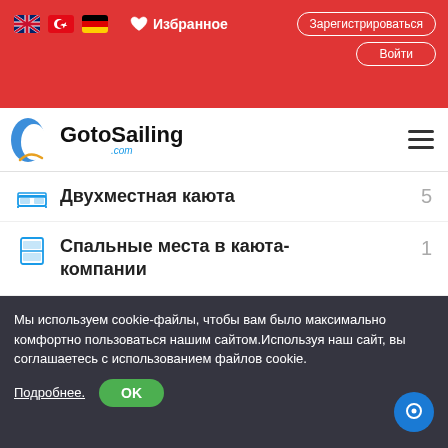[Figure (screenshot): GotoSailing.com website header with red top bar containing flag icons (UK, Turkey, Germany), Избранное (Favorites) button, Зарегистрироваться (Register) button, Войти (Login) button, and white navigation bar with GotoSailing.com logo and hamburger menu]
Двухместная каюта  5
Спальные места в каюткомпании  1
Гостевой душ  3
Гостевой туалет  3
[Figure (illustration): Four nautical/sailing icons: ship wheel, navigation map, propeller/fan, anchor]
Мы используем cookie-файлы, чтобы вам было максимально комфортно пользоваться нашим сайтом.Используя наш сайт, вы соглашаетесь с использованием файлов cookie.
Подробнее.   OK